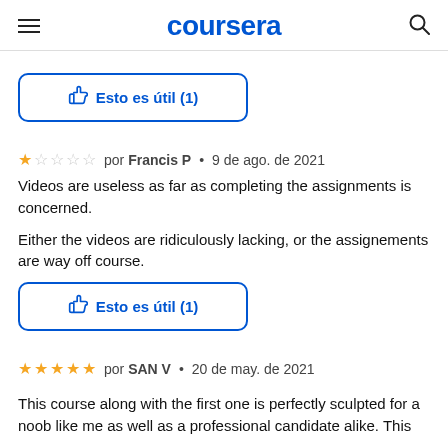coursera
👍 Esto es útil (1)
★☆☆☆☆ por Francis P • 9 de ago. de 2021
Videos are useless as far as completing the assignments is concerned.

Either the videos are ridiculously lacking, or the assignements are way off course.
👍 Esto es útil (1)
★★★★★ por SAN V • 20 de may. de 2021
This course along with the first one is perfectly sculpted for a noob like me as well as a professional candidate alike. This